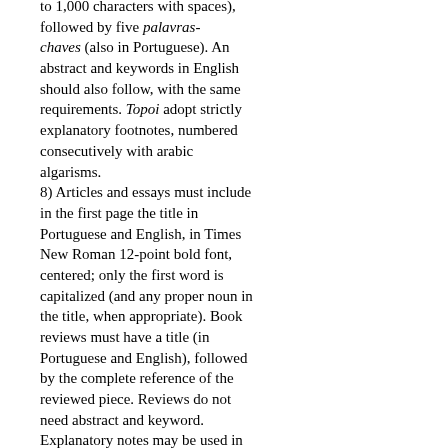to 1,000 characters with spaces), followed by five palavras-chaves (also in Portuguese). An abstract and keywords in English should also follow, with the same requirements. Topoi adopt strictly explanatory footnotes, numbered consecutively with arabic algarisms. 8) Articles and essays must include in the first page the title in Portuguese and English, in Times New Roman 12-point bold font, centered; only the first word is capitalized (and any proper noun in the title, when appropriate). Book reviews must have a title (in Portuguese and English), followed by the complete reference of the reviewed piece. Reviews do not need abstract and keyword. Explanatory notes may be used in book reviews. References should be in the main body of the text, following the author-date system. Example: (CARVALHO, 2011, p. 397). Full bibliographic references should be listed in alphabetical order at the end of the text (including the reference of the reviewed book and references to